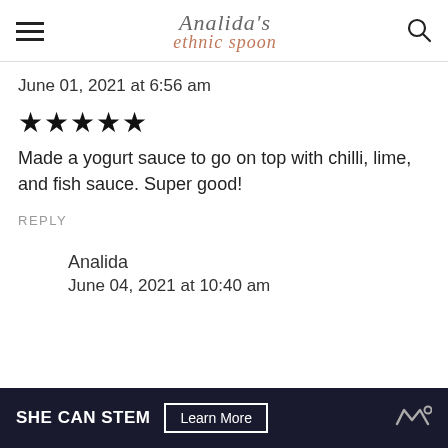Analida's ethnic spoon
June 01, 2021 at 6:56 am
★★★★★
Made a yogurt sauce to go on top with chilli, lime, and fish sauce. Super good!
REPLY
Analida
June 04, 2021 at 10:40 am
[Figure (infographic): Advertisement banner: SHE CAN STEM with Learn More button and logo]